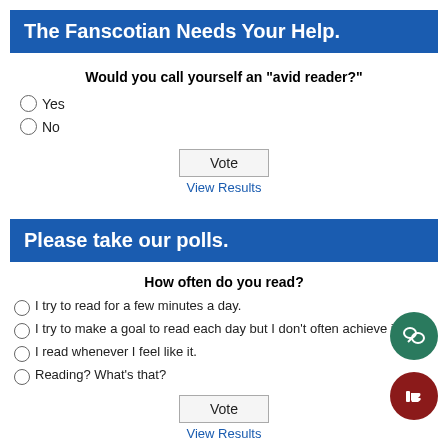The Fanscotian Needs Your Help.
Would you call yourself an "avid reader?"
Yes
No
Vote
View Results
Please take our polls.
How often do you read?
I try to read for a few minutes a day.
I try to make a goal to read each day but I don't often achieve it.
I read whenever I feel like it.
Reading? What's that?
Vote
View Results